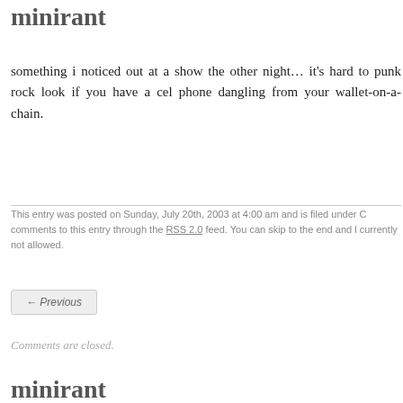minirant
something i noticed out at a show the other night… it's hard to punk rock look if you have a cel phone dangling from your wallet-on-a-chain.
This entry was posted on Sunday, July 20th, 2003 at 4:00 am and is filed under … comments to this entry through the RSS 2.0 feed. You can skip to the end and … currently not allowed.
← Previous
Comments are closed.
minirant